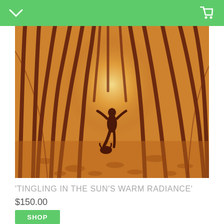Navigation bar with menu and cart icons
[Figure (illustration): A colored pencil or pastel illustration showing a figure (possibly a person or animal) in silhouette at the center, surrounded by radiating dark brown streaks on a warm orange/yellow background, evoking a forest or sun rays.]
'TINGLING IN THE SUN'S WARM RADIANCE'
$150.00
SHOP